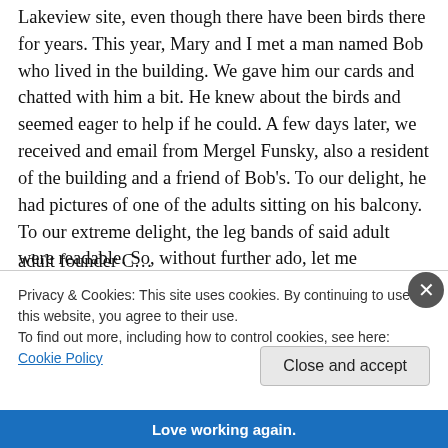Lakeview site, even though there have been birds there for years. This year, Mary and I met a man named Bob who lived in the building. We gave him our cards and chatted with him a bit. He knew about the birds and seemed eager to help if he could. A few days later, we received and email from Mergel Funsky, also a resident of the building and a friend of Bob's. To our delight, he had pictures of one of the adults sitting on his balcony. To our extreme delight, the leg bands of said adult were readable. So, without further ado, let me introduce you to Lakeview's
Privacy & Cookies: This site uses cookies. By continuing to use this website, you agree to their use.
To find out more, including how to control cookies, see here: Cookie Policy
Close and accept
Love working again.